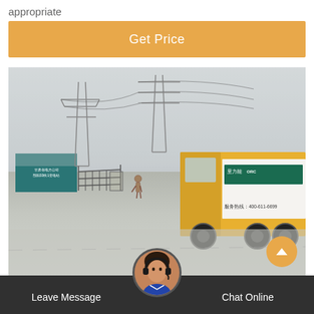appropriate
Get Price
[Figure (photo): Outdoor electrical substation with high-voltage transmission towers and power lines. A yellow truck with Chinese text and a teal sign with Chinese characters are visible. Road leads into the facility compound.]
Leave Message   Chat Online
40.5kvabb kms circuit breaker Finland